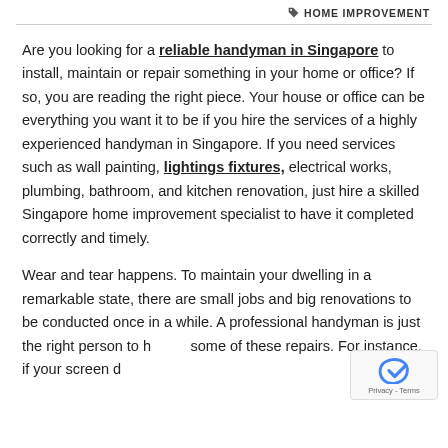HOME IMPROVEMENT
Are you looking for a reliable handyman in Singapore to install, maintain or repair something in your home or office? If so, you are reading the right piece. Your house or office can be everything you want it to be if you hire the services of a highly experienced handyman in Singapore. If you need services such as wall painting, lightings fixtures, electrical works, plumbing, bathroom, and kitchen renovation, just hire a skilled Singapore home improvement specialist to have it completed correctly and timely.
Wear and tear happens. To maintain your dwelling in a remarkable state, there are small jobs and big renovations to be conducted once in a while. A professional handyman is just the right person to handle some of these repairs. For instance, if your screen door is falling off the track, the handyman can fix that, and...